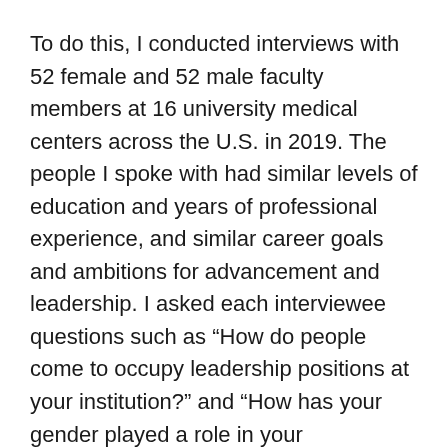To do this, I conducted interviews with 52 female and 52 male faculty members at 16 university medical centers across the U.S. in 2019. The people I spoke with had similar levels of education and years of professional experience, and similar career goals and ambitions for advancement and leadership. I asked each interviewee questions such as "How do people come to occupy leadership positions at your institution?" and "How has your gender played a role in your experiences in academic medicine?"
Both men and women mentioned “networking” and specifically “the boys club” – which